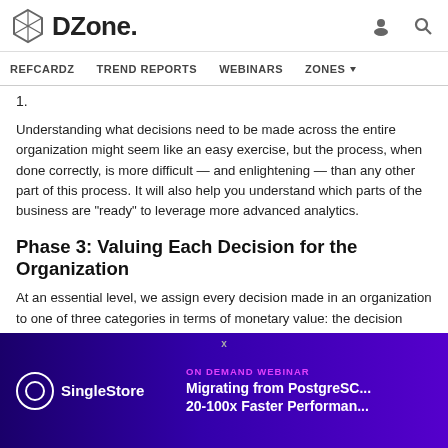DZone. | REFCARDZ | TREND REPORTS | WEBINARS | ZONES
1.
Understanding what decisions need to be made across the entire organization might seem like an easy exercise, but the process, when done correctly, is more difficult — and enlightening — than any other part of this process. It will also help you understand which parts of the business are "ready" to leverage more advanced analytics.
Phase 3: Valuing Each Decision for the Organization
At an essential level, we assign every decision made in an organization to one of three categories in terms of monetary value: the decision either generates revenue, manages costs, or mitigates risk. The monetary value of the decision determines the appropriate level of investment and the value of applying data science.
[Figure (screenshot): SingleStore advertisement banner: ON DEMAND WEBINAR - Migrating from PostgreSQL 20-100x Faster Performance]